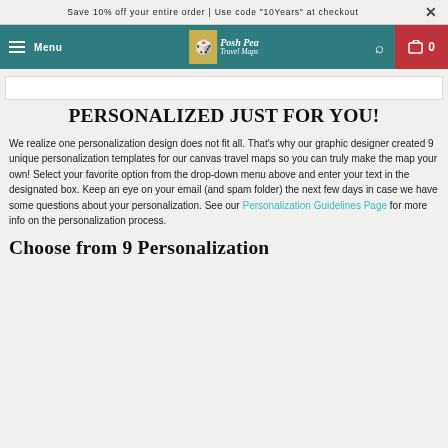Save 10% off your entire order | Use code "10Years" at checkout
[Figure (screenshot): Navigation bar with teal background, hamburger menu, Menu text, Posh Pea Travel Maps logo in center, search icon, and red cart icon with 0]
[Figure (screenshot): White product image strip]
PERSONALIZED JUST FOR YOU!
We realize one personalization design does not fit all. That's why our graphic designer created 9 unique personalization templates for our canvas travel maps so you can truly make the map your own! Select your favorite option from the drop-down menu above and enter your text in the designated box. Keep an eye on your email (and spam folder) the next few days in case we have some questions about your personalization. See our Personalization Guidelines Page for more info on the personalization process.
Choose from 9 Personalization